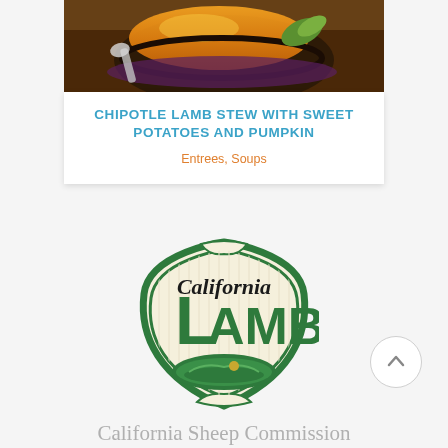[Figure (photo): Food photograph showing a bowl of chipotle lamb stew with sweet potatoes and pumpkin, with a leaf garnish on a dark background]
CHIPOTLE LAMB STEW WITH SWEET POTATOES AND PUMPKIN
Entrees, Soups
[Figure (logo): California Lamb logo — shield-shaped badge with green border, cream background, script 'California' above large 'LAMB' text, with a decorative plate/landscape oval at the bottom]
California Sheep Commission